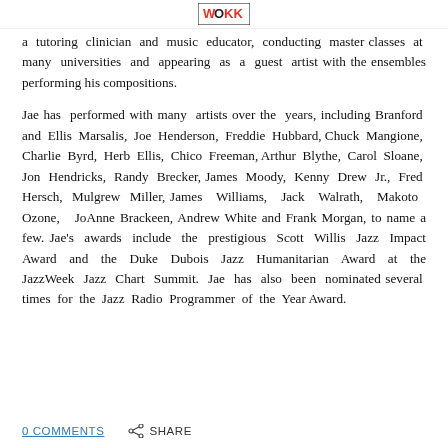WOKK [logo]
a tutoring clinician and music educator, conducting master classes at many universities and appearing as a guest artist with the ensembles performing his compositions.
Jae has performed with many artists over the years, including Branford and Ellis Marsalis, Joe Henderson, Freddie Hubbard, Chuck Mangione, Charlie Byrd, Herb Ellis, Chico Freeman, Arthur Blythe, Carol Sloane, Jon Hendricks, Randy Brecker, James Moody, Kenny Drew Jr., Fred Hersch, Mulgrew Miller, James Williams, Jack Walrath, Makoto Ozone, JoAnne Brackeen, Andrew White and Frank Morgan, to name a few. Jae's awards include the prestigious Scott Willis Jazz Impact Award and the Duke Dubois Jazz Humanitarian Award at the JazzWeek Jazz Chart Summit. Jae has also been nominated several times for the Jazz Radio Programmer of the Year Award.
0 COMMENTS   SHARE